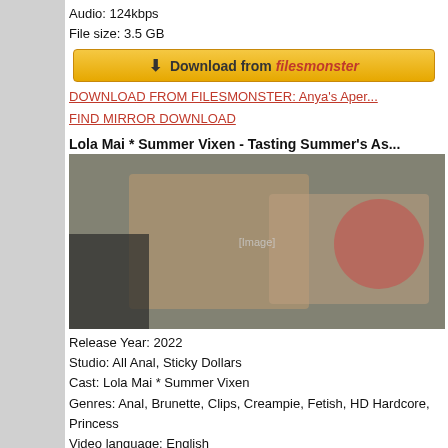Audio: 124kbps
File size: 3.5 GB
[Figure (other): Download from FilesMonster button]
DOWNLOAD FROM FILESMONSTER: Anya's Aper...
FIND MIRROR DOWNLOAD
Lola Mai * Summer Vixen - Tasting Summer's As...
[Figure (photo): Adult content thumbnail image]
Release Year: 2022
Studio: All Anal, Sticky Dollars
Cast: Lola Mai * Summer Vixen
Genres: Anal, Brunette, Clips, Creampie, Fetish, HD Hardcore, Princess
Video language: English
Lola Mai is a total ATM princess wanting to fill her ou...